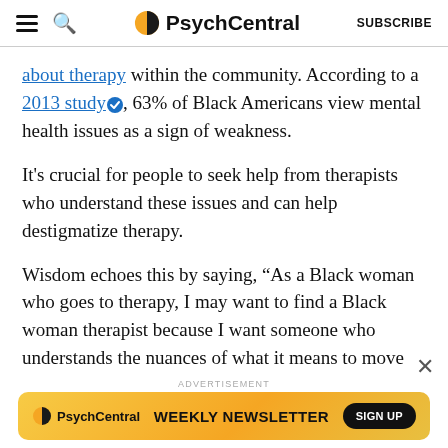PsychCentral — SUBSCRIBE
about therapy within the community. According to a 2013 study, 63% of Black Americans view mental health issues as a sign of weakness.
It's crucial for people to seek help from therapists who understand these issues and can help destigmatize therapy.
Wisdom echoes this by saying, “As a Black woman who goes to therapy, I may want to find a Black woman therapist because I want someone who understands the nuances of what it means to move through the world and move through the United States as a Black
[Figure (screenshot): PsychCentral Weekly Newsletter advertisement banner with orange/yellow gradient background, PsychCentral logo on left, WEEKLY NEWSLETTER text in center, SIGN UP button on right.]